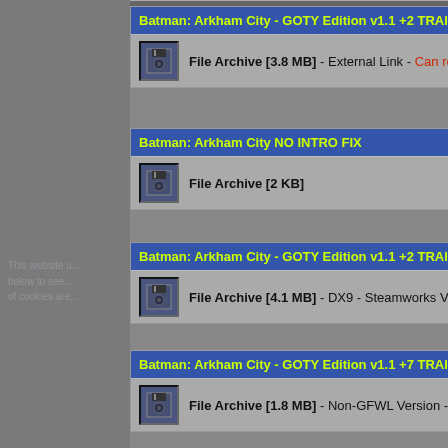Batman: Arkham City - GOTY Edition v1.1 +2 TRAIN...
File Archive [3.8 MB] - External Link - Can retur...
Batman: Arkham City NO INTRO FIX
File Archive [2 KB]
Batman: Arkham City - GOTY Edition v1.1 +2 TRAIN...
File Archive [4.1 MB] - DX9 - Steamworks Versi...
Batman: Arkham City - GOTY Edition v1.1 +7 TRAIN...
File Archive [1.8 MB] - Non-GFWL Version - Ca...
Batman: Arkham City - GOTY Edition v1.1 +1 TRAIN...
File Archive [3.5 MB] - Steamworks Version